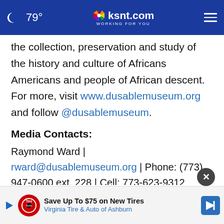79° | ksnt.com WORKING FOR YOU
the collection, preservation and study of the history and culture of Africans Americans and people of African descent. For more, visit www.dusablemuseum.org and follow @dusablemuseum.
Media Contacts:
Raymond Ward | rward@dusablemuseum.org | Phone: (773) 947-0600 ext. 228 | Cell: 773-623-9312
Wend... wend... (12)
[Figure (screenshot): Advertisement banner: Save Up To $75 on New Tires - Virginia Tire & Auto of Ashburn, with Tire Auto logo, play icon, and blue navigation arrow icon]